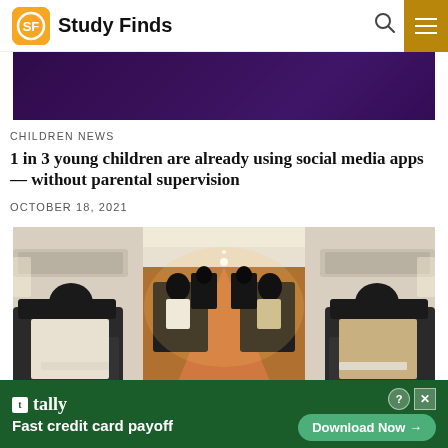Study Finds
[Figure (photo): Cropped top portion of an article image showing a dark purple/blue background]
CHILDREN NEWS
1 in 3 young children are already using social media apps — without parental supervision
OCTOBER 18, 2021
[Figure (photo): Interior of an airplane cabin showing rows of seats with passengers, warm lighting down the aisle]
[Figure (screenshot): Advertisement banner for Tally app: Fast credit card payoff with Download Now button]